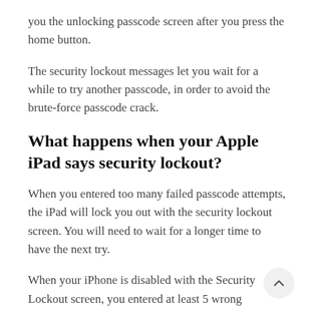you the unlocking passcode screen after you press the home button.
The security lockout messages let you wait for a while to try another passcode, in order to avoid the brute-force passcode crack.
What happens when your Apple iPad says security lockout?
When you entered too many failed passcode attempts, the iPad will lock you out with the security lockout screen. You will need to wait for a longer time to have the next try.
When your iPhone is disabled with the Security Lockout screen, you entered at least 5 wrong